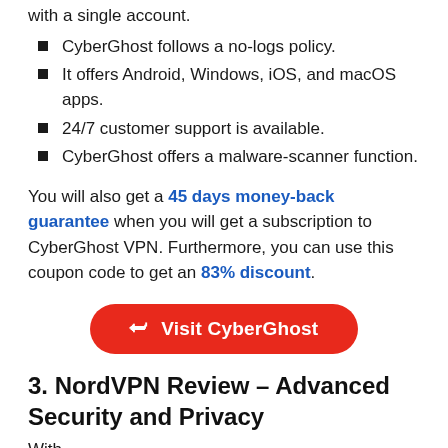with a single account.
CyberGhost follows a no-logs policy.
It offers Android, Windows, iOS, and macOS apps.
24/7 customer support is available.
CyberGhost offers a malware-scanner function.
You will also get a 45 days money-back guarantee when you will get a subscription to CyberGhost VPN. Furthermore, you can use this coupon code to get an 83% discount.
[Figure (other): Red rounded button with external link icon and text 'Visit CyberGhost']
3. NordVPN Review – Advanced Security and Privacy
With...